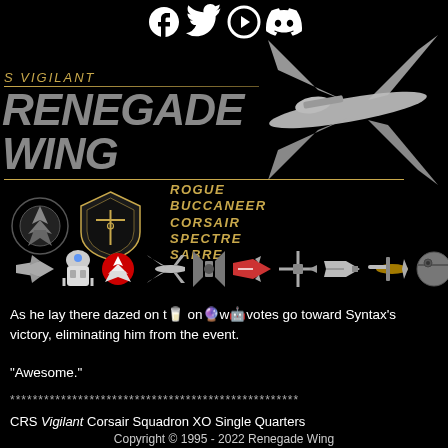[Figure (illustration): Social media icons: Facebook, Twitter, YouTube/Play, Discord at top center]
[Figure (illustration): X-wing starfighter illustration in white/gray on black background, upper right]
S VIGILANT
RENEGADE WING
ROGUE BUCCANEER CORSAIR
SPECTRE SABRE
[Figure (illustration): Rebel Alliance logo and Renegade Wing shield badge logos]
[Figure (illustration): Navigation icon strip: various Star Wars ship and character icons]
As he lay there dazed on t [cup emoji] on [sphere emoji] w [C-3PO emoji] votes go toward Syntax's victory, eliminating him from the event.
"Awesome."
***************************************************
CRS Vigilant Corsair Squadron XO Single Quarters
Copyright © 1995 - 2022 Renegade Wing